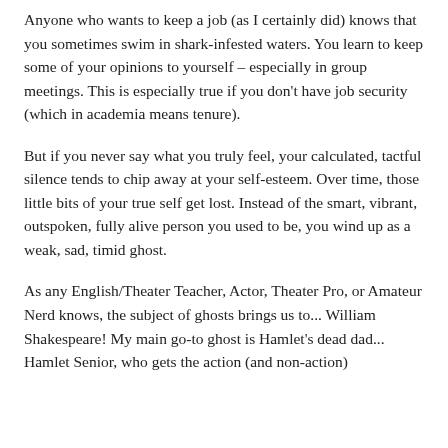Anyone who wants to keep a job (as I certainly did) knows that you sometimes swim in shark-infested waters. You learn to keep some of your opinions to yourself – especially in group meetings. This is especially true if you don't have job security (which in academia means tenure).
But if you never say what you truly feel, your calculated, tactful silence tends to chip away at your self-esteem. Over time, those little bits of your true self get lost. Instead of the smart, vibrant, outspoken, fully alive person you used to be, you wind up as a weak, sad, timid ghost.
As any English/Theater Teacher, Actor, Theater Pro, or Amateur Nerd knows, the subject of ghosts brings us to... William Shakespeare! My main go-to ghost is Hamlet's dead dad... Hamlet Senior, who gets the action (and non-action)